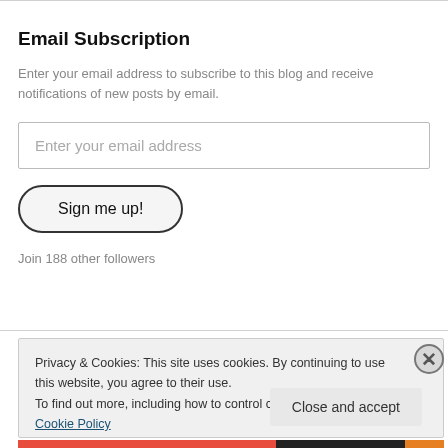Email Subscription
Enter your email address to subscribe to this blog and receive notifications of new posts by email.
Enter your email address
Sign me up!
Join 188 other followers
Privacy & Cookies: This site uses cookies. By continuing to use this website, you agree to their use.
To find out more, including how to control cookies, see here: Cookie Policy
Close and accept